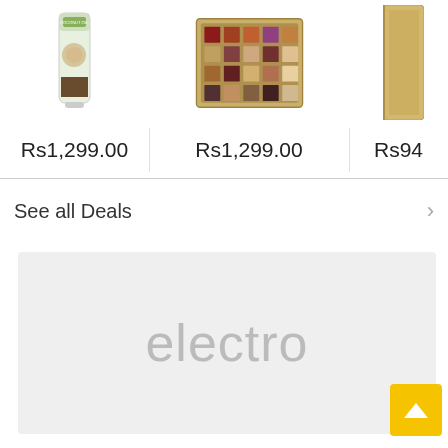[Figure (photo): Coconut oil hair conditioner product tube]
[Figure (photo): Eyeshadow palette with multiple color squares]
[Figure (photo): Partially visible product (cropped at right edge)]
Rs1,299.00
Rs1,299.00
Rs94...
See all Deals
[Figure (other): Gray banner placeholder with text 'electro']